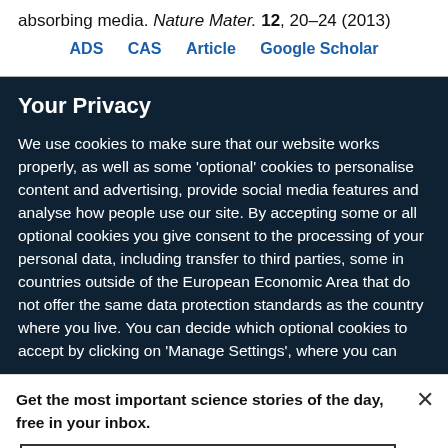absorbing media. Nature Mater. 12, 20–24 (2013)
ADS   CAS   Article   Google Scholar
Your Privacy
We use cookies to make sure that our website works properly, as well as some 'optional' cookies to personalise content and advertising, provide social media features and analyse how people use our site. By accepting some or all optional cookies you give consent to the processing of your personal data, including transfer to third parties, some in countries outside of the European Economic Area that do not offer the same data protection standards as the country where you live. You can decide which optional cookies to accept by clicking on 'Manage Settings', where you can
Get the most important science stories of the day, free in your inbox.
Sign up for Nature Briefing